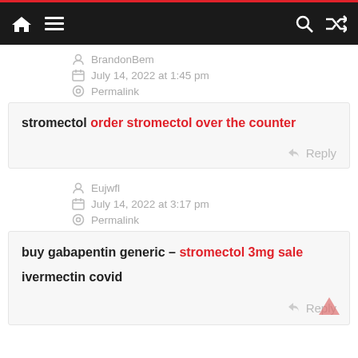Navigation bar with home, menu, search, and shuffle icons
BrandonBem
July 14, 2022 at 1:45 pm
Permalink
stromectol order stromectol over the counter
Reply
Eujwfl
July 14, 2022 at 3:17 pm
Permalink
buy gabapentin generic – stromectol 3mg sale ivermectin covid
Reply